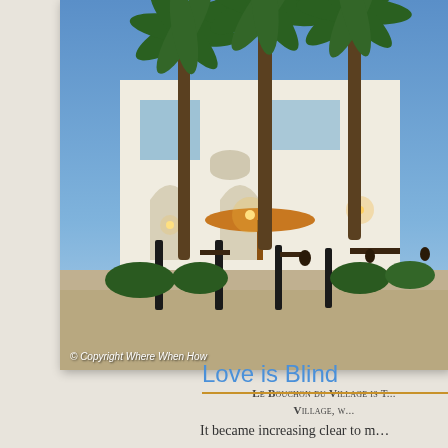[Figure (photo): Evening photo of Le Bouchon du Village restaurant with tall palm trees, white building, outdoor seating with umbrella tables and warm lighting]
Le Bouchon du Village is T... Village, w...
Love is Blind
It became increasing clear to m...